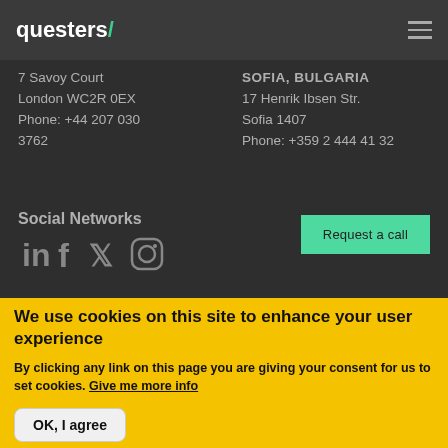questers/
7 Savoy Court
London WC2R 0EX
Phone: +44 207 030 3762
SOFIA, BULGARIA
17 Henrik Ibsen Str.
Sofia 1407
Phone: +359 2 444 41 32
Social Networks
[Figure (other): Social network icons: LinkedIn, Facebook, Twitter, Instagram]
Request a call
We use cookies on this site to enhance your user experience
By clicking any link on this page you are giving your consent for us to set cookies. Give me more info
OK, I agree